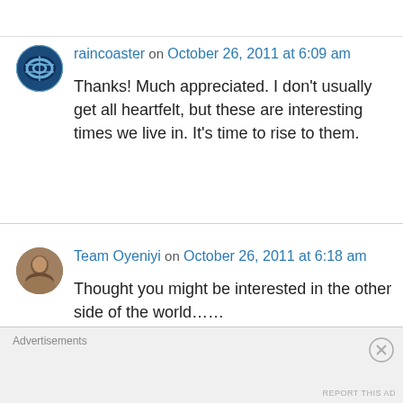raincoaster on October 26, 2011 at 6:09 am
Thanks! Much appreciated. I don't usually get all heartfelt, but these are interesting times we live in. It's time to rise to them.
Team Oyeniyi on October 26, 2011 at 6:18 am
Thought you might be interested in the other side of the world……
http://www.heraldsun.com.au/news/occupy-
Advertisements